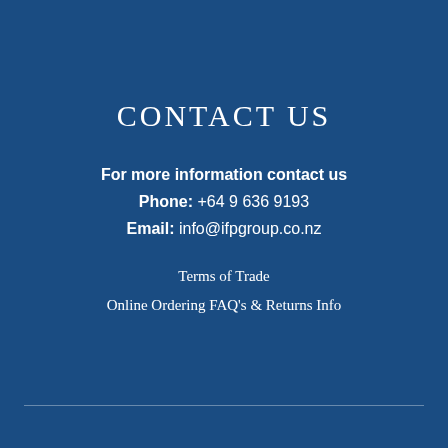CONTACT US
For more information contact us
Phone: +64 9 636 9193
Email: info@ifpgroup.co.nz
Terms of Trade
Online Ordering FAQ's & Returns Info